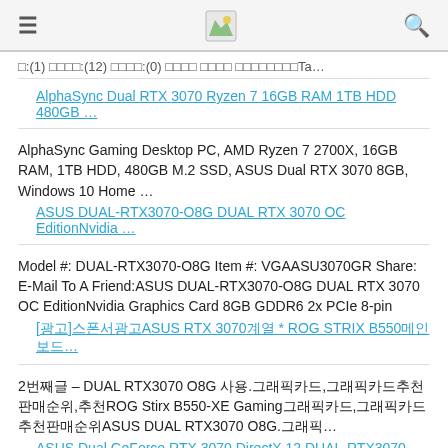≡  [logo]  🔍
□:(1) □□□□:(12) □□□□:(0) □□□□ □□□□ □□□□□□□□Ta…
AlphaSync Dual RTX 3070 Ryzen 7 16GB RAM 1TB HDD 480GB …
AlphaSync Gaming Desktop PC, AMD Ryzen 7 2700X, 16GB RAM, 1TB HDD, 480GB M.2 SSD, ASUS Dual RTX 3070 8GB, Windows 10 Home …
ASUS DUAL-RTX3070-O8G DUAL RTX 3070 OC EditionNvidia …
Model #: DUAL-RTX3070-O8G Item #: VGAASU3070GR Share: E-Mail To A Friend:ASUS DUAL-RTX3070-O8G DUAL RTX 3070 OC EditionNvidia Graphics Card 8GB GDDR6 2x PCIe 8-pin
[광고]스폰서광고ASUS RTX 3070계열 * ROG STRIX B550메인보드…
2번째글 – DUAL RTX3070 O8G 사용.그래픽카드,그래픽카드추천판매순위,추천ROG Stirx B550-XE Gaming그래픽카드, 그래픽카드추천판매순위ASUS DUAL RTX3070 O8G.그래픽… ASUS Dual GeForce RTX 3070 DirectX 12 DUAL-RTX3070-8G…